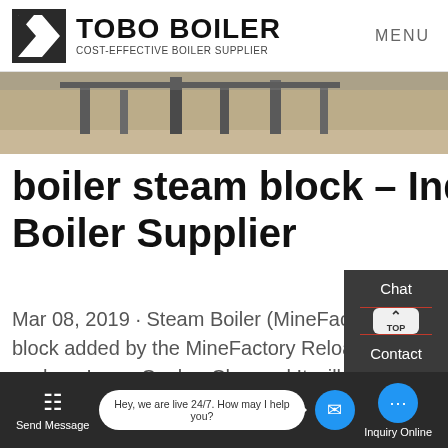TOBO BOILER — COST-EFFECTIVE BOILER SUPPLIER | MENU
[Figure (photo): Partial view of industrial boiler room or factory floor with pipes and equipment, warm grey-brown tones]
boiler steam block – Industrial Boiler Supplier
Mar 08, 2019 · Steam Boiler (MineFactory Reloaded) – Feed The Beast Wiki The Steam Boiler is a block added by the MineFactory Reloaded mod. It is used to produce Steam from Water, using fuel such as Lava, Coal or Charcoal.It will build up temperature from 20°C up to 750°C and start producing at 100°C at the rate of 400mB of steam...
Send Message | Hey, we are live 24/7. How may I help you? | Inquiry Online